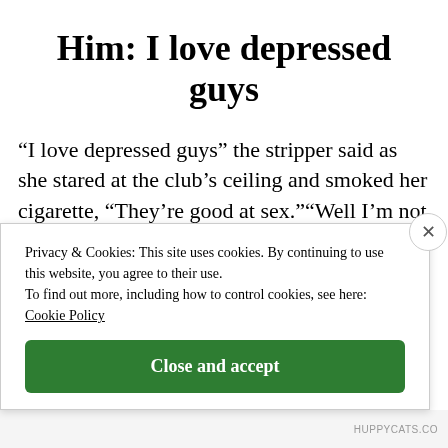Him: I love depressed guys
“I love depressed guys” the stripper said as she stared at the club’s ceiling and smoked her cigarette, “They’re good at sex.”“Well I’m not depressed and I’m good at sex” he said.She turned to look at him and blinked her eyes, “You live in a closet, smoke crack at
Privacy & Cookies: This site uses cookies. By continuing to use this website, you agree to their use.
To find out more, including how to control cookies, see here: Cookie Policy
Close and accept
HUPPYCATS.CO